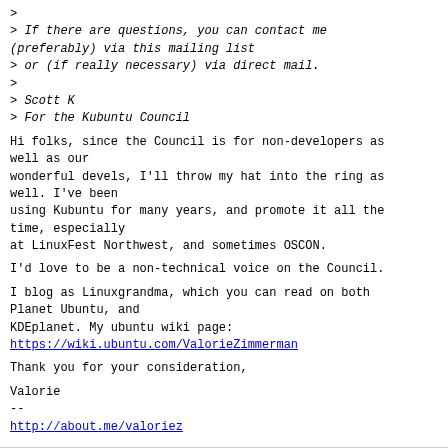>
> If there are questions, you can contact me (preferably) via this mailing list
> or (if really necessary) via direct mail.
>
> Scott K
> For the Kubuntu Council
Hi folks, since the Council is for non-developers as well as our
wonderful devels, I'll throw my hat into the ring as well. I've been
using Kubuntu for many years, and promote it all the
time, especially
at LinuxFest Northwest, and sometimes OSCON.
I'd love to be a non-technical voice on the Council.
I blog as Linuxgrandma, which you can read on both Planet Ubuntu, and
KDEplanet. My ubuntu wiki page:
https://wiki.ubuntu.com/ValorieZimmerman
Thank you for your consideration,
Valorie
--
http://about.me/valoriez